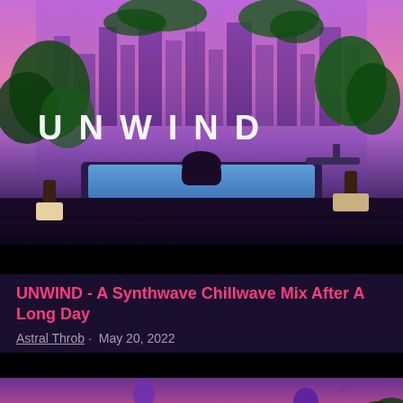[Figure (illustration): Synthwave/lofi illustration of a person relaxing in a bathtub on a rooftop, surrounded by tropical plants, with a purple-pink cityscape at night visible through large windows. The word UNWIND is displayed in large white spaced letters across the middle of the image. A black bar runs across the bottom of the image block.]
UNWIND - A Synthwave Chillwave Mix After A Long Day
Astral Throb · May 20, 2022
[Figure (illustration): Lofi/synthwave illustration of a building with purple-lit windows at dusk/sunset, hot air balloons floating in a purple-pink sky, with silhouetted city buildings on the left and a palm tree on the right. A black bar is visible at the top of the image block.]